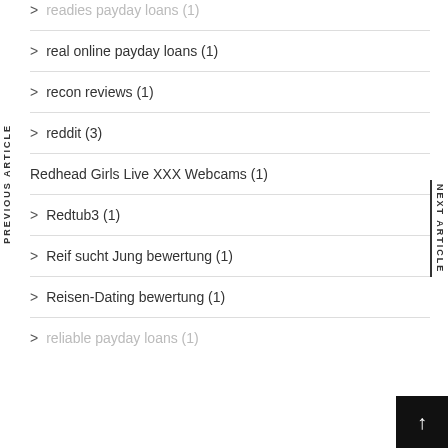readies payday loans (1)
real online payday loans (1)
recon reviews (1)
reddit (3)
Redhead Girls Live XXX Webcams (1)
Redtub3 (1)
Reif sucht Jung bewertung (1)
Reisen-Dating bewertung (1)
reliable payday loans (1)